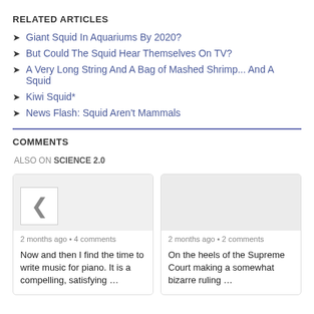RELATED ARTICLES
Giant Squid In Aquariums By 2020?
But Could The Squid Hear Themselves On TV?
A Very Long String And A Bag of Mashed Shrimp... And A Squid
Kiwi Squid*
News Flash: Squid Aren't Mammals
COMMENTS
ALSO ON SCIENCE 2.0
2 months ago · 4 comments
Now and then I find the time to write music for piano. It is a compelling, satisfying …
2 months ago · 2 comments
On the heels of the Supreme Court making a somewhat bizarre ruling …